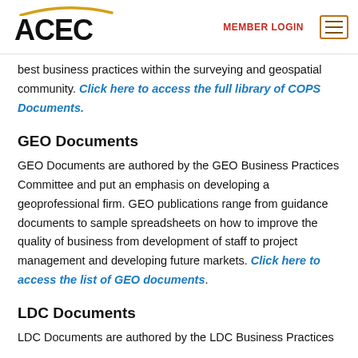ACEC | MEMBER LOGIN
best business practices within the surveying and geospatial community. Click here to access the full library of COPS Documents.
GEO Documents
GEO Documents are authored by the GEO Business Practices Committee and put an emphasis on developing a geoprofessional firm. GEO publications range from guidance documents to sample spreadsheets on how to improve the quality of business from development of staff to project management and developing future markets. Click here to access the list of GEO documents.
LDC Documents
LDC Documents are authored by the LDC Business Practices Working Group and put an emphasis on developing a land development